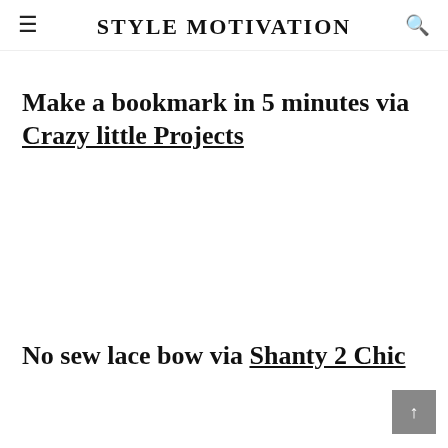STYLE MOTIVATION
Make a bookmark in 5 minutes via Crazy little Projects
No sew lace bow via Shanty 2 Chic